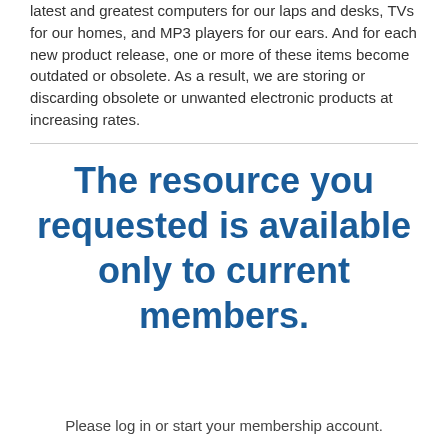latest and greatest computers for our laps and desks, TVs for our homes, and MP3 players for our ears. And for each new product release, one or more of these items become outdated or obsolete. As a result, we are storing or discarding obsolete or unwanted electronic products at increasing rates.
The resource you requested is available only to current members.
Please log in or start your membership account.